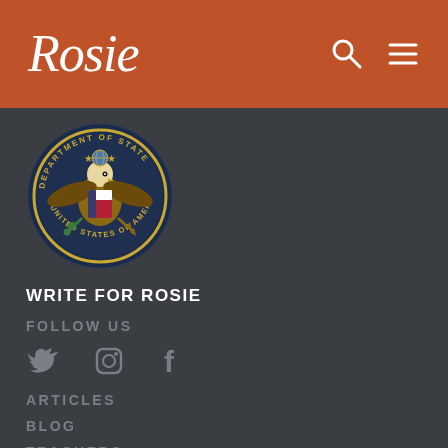Rosie
[Figure (logo): U.S. Department of State seal / emblem with eagle and circular text]
WRITE FOR ROSIE
FOLLOW US
[Figure (infographic): Social media icons: Twitter bird, Instagram camera, Facebook f]
ARTICLES
BLOG
TEACHERS
REALISED BY SQUAREWEAVE